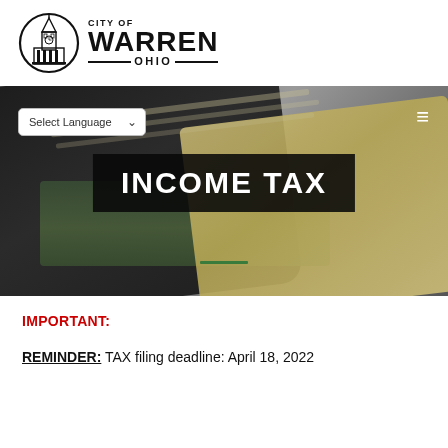[Figure (logo): City of Warren Ohio official seal and wordmark logo with clock tower building inside circle]
[Figure (photo): Close-up photo of a dark calculator with tan/beige keys and green display screen, blurred background, used as hero banner image]
INCOME TAX
IMPORTANT:
REMINDER: TAX filing deadline: April 18, 2022